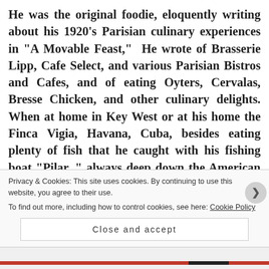He was the original foodie, eloquently writing about his 1920's Parisian culinary experiences in “A Movable Feast,”  He wrote of Brasserie Lipp, Cafe Select, and various Parisian Bistros and Cafes, and of eating Oyters, Cervalas, Bresse Chicken, and other culinary delights. When at home in Key West or at his home the Finca Vigia, Havana, Cuba, besides eating plenty of fish that he caught with his fishing boat “Pilar, ” always deep down the American Boy, Hemingway loved a good old fashion American Hamburger, every now and then. Yes Ernest
Privacy & Cookies: This site uses cookies. By continuing to use this website, you agree to their use.
To find out more, including how to control cookies, see here: Cookie Policy
Close and accept